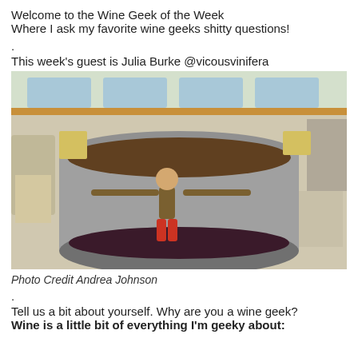Welcome to the Wine Geek of the Week
Where I ask my favorite wine geeks shitty questions!
.
This week's guest is Julia Burke @vicousvinifera
[Figure (photo): A woman standing inside a large stainless steel fermentation tank in a winery, smiling and holding equipment, surrounded by wine barrels and winery equipment.]
Photo Credit Andrea Johnson
.
Tell us a bit about yourself. Why are you a wine geek?
Wine is a little bit of everything I'm geeky about: